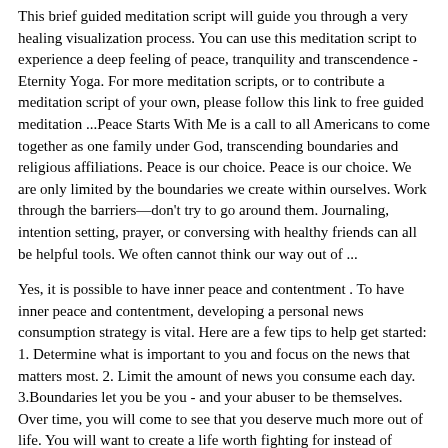This brief guided meditation script will guide you through a very healing visualization process. You can use this meditation script to experience a deep feeling of peace, tranquility and transcendence - Eternity Yoga. For more meditation scripts, or to contribute a meditation script of your own, please follow this link to free guided meditation ...Peace Starts With Me is a call to all Americans to come together as one family under God, transcending boundaries and religious affiliations. Peace is our choice. Peace is our choice. We are only limited by the boundaries we create within ourselves. Work through the barriers—don't try to go around them. Journaling, intention setting, prayer, or conversing with healthy friends can all be helpful tools. We often cannot think our way out of ...
Yes, it is possible to have inner peace and contentment . To have inner peace and contentment, developing a personal news consumption strategy is vital. Here are a few tips to help get started: 1. Determine what is important to you and focus on the news that matters most. 2. Limit the amount of news you consume each day. 3.Boundaries let you be you - and your abuser to be themselves. Over time, you will come to see that you deserve much more out of life. You will want to create a life worth fighting for instead of fighting someone for the life you want.-----I wish you all a very peaceful holiday season.
Resources and supplemental...